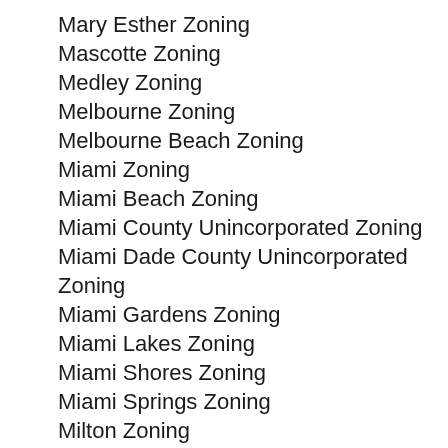Mary Esther Zoning
Mascotte Zoning
Medley Zoning
Melbourne Zoning
Melbourne Beach Zoning
Miami Zoning
Miami Beach Zoning
Miami County Unincorporated Zoning
Miami Dade County Unincorporated Zoning
Miami Gardens Zoning
Miami Lakes Zoning
Miami Shores Zoning
Miami Springs Zoning
Milton Zoning
Miramar Zoning
Montverde Zoning
Mount Dora Zoning